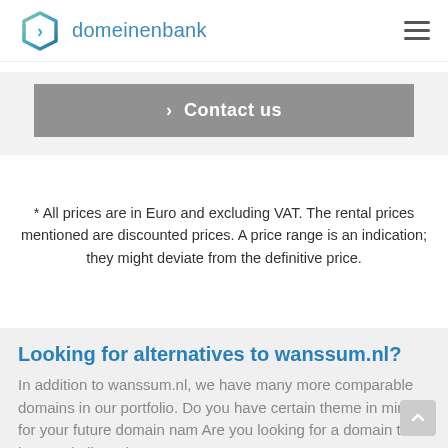domeinenbank
> Contact us
* All prices are in Euro and excluding VAT. The rental prices mentioned are discounted prices. A price range is an indication; they might deviate from the definitive price.
Looking for alternatives to wanssum.nl?
In addition to wanssum.nl, we have many more comparable domains in our portfolio. Do you have certain theme in mind for your future domain nam Are you looking for a domain that is more in line wi